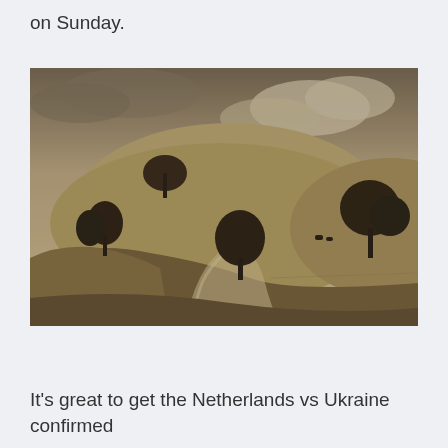on Sunday.
[Figure (photo): Sepia-toned landscape photograph showing rolling hills with scattered oak trees, a winding dirt path, and cattle visible in the distance under a dramatic cloudy sky.]
It's great to get the Netherlands vs Ukraine confirmed